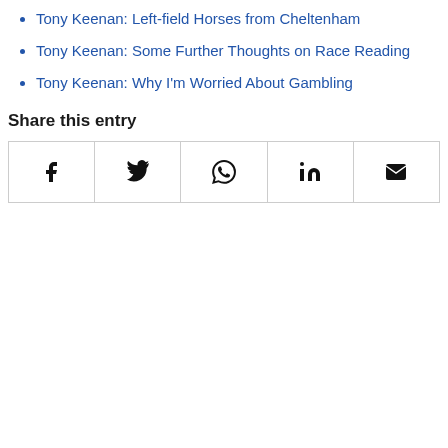Tony Keenan: Left-field Horses from Cheltenham
Tony Keenan: Some Further Thoughts on Race Reading
Tony Keenan: Why I'm Worried About Gambling
Share this entry
| Facebook | Twitter | WhatsApp | LinkedIn | Email |
| --- | --- | --- | --- | --- |
| f | 𝕏 | ⊙ | in | ✉ |